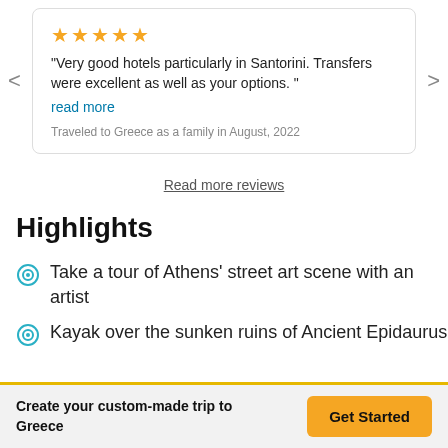★★★★★
"Very good hotels particularly in Santorini. Transfers were excellent as well as your options. "
read more
Traveled to Greece as a family in August, 2022
Read more reviews
Highlights
Take a tour of Athens' street art scene with an artist
Kayak over the sunken ruins of Ancient Epidaurus
Create your custom-made trip to Greece
Get Started